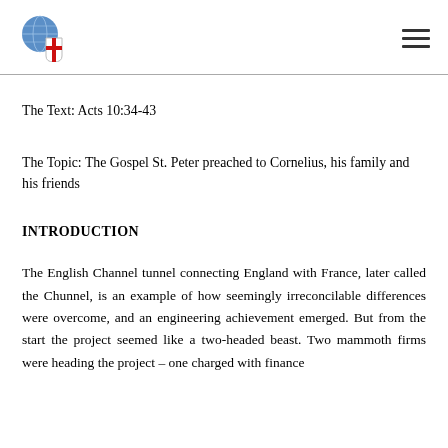[Figure (logo): Globe with shield overlay featuring red cross on white, Anglican/Episcopal church logo]
The Text: Acts 10:34-43
The Topic: The Gospel St. Peter preached to Cornelius, his family and his friends
INTRODUCTION
The English Channel tunnel connecting England with France, later called the Chunnel, is an example of how seemingly irreconcilable differences were overcome, and an engineering achievement emerged. But from the start the project seemed like a two-headed beast. Two mammoth firms were heading the project – one charged with finance